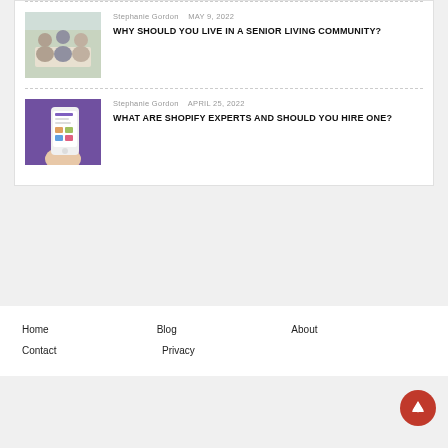[Figure (photo): Elderly people dining together at a table]
Stephanie Gordon   MAY 9, 2022
WHY SHOULD YOU LIVE IN A SENIOR LIVING COMMUNITY?
[Figure (photo): Hand holding a smartphone with a shopping app open]
Stephanie Gordon   APRIL 25, 2022
WHAT ARE SHOPIFY EXPERTS AND SHOULD YOU HIRE ONE?
Home   Blog   About   Contact   Privacy